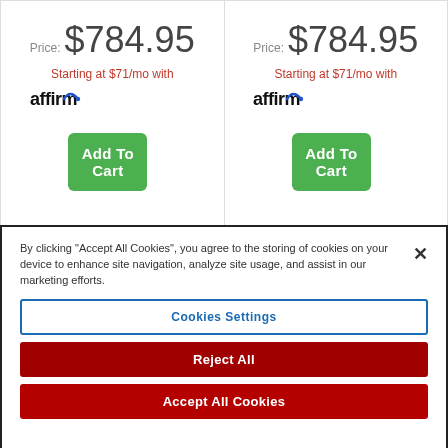Price: $784.95
Starting at $71/mo with affirm
Add To Cart
Price: $784.95
Starting at $71/mo with affirm
Add To Cart
By clicking “Accept All Cookies”, you agree to the storing of cookies on your device to enhance site navigation, analyze site usage, and assist in our marketing efforts.
Cookies Settings
Reject All
Accept All Cookies